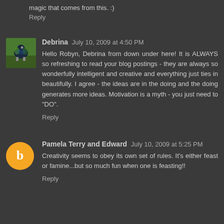magic that comes from this. :)
Reply
Debrina July 10, 2009 at 4:50 PM
Hello Robyn, Debrina from down under here! It is ALWAYS so refreshing to read your blog postings - they are always so wonderfully intelligent and creative and everything just ties in beautifully. I agree - the ideas are in the doing and the doing generates more ideas. Motivation is a myth - you just need to "DO".
Reply
Pamela Terry and Edward July 10, 2009 at 5:25 PM
Creativity seems to obey its own set of rules. It's either feast or famine...but so much fun when one is feasting!!
Reply